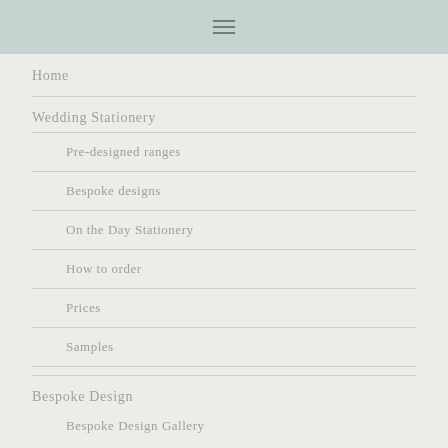≡
Home
Wedding Stationery
Pre-designed ranges
Bespoke designs
On the Day Stationery
How to order
Prices
Samples
Bespoke Design
Bespoke Design Gallery